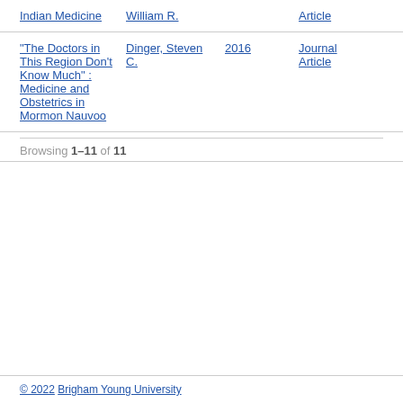Indian Medicine | William R. | | Article
"The Doctors in This Region Don't Know Much" : Medicine and Obstetrics in Mormon Nauvoo | Dinger, Steven C. | 2016 | Journal Article
Browsing 1–11 of 11
© 2022 Brigham Young University